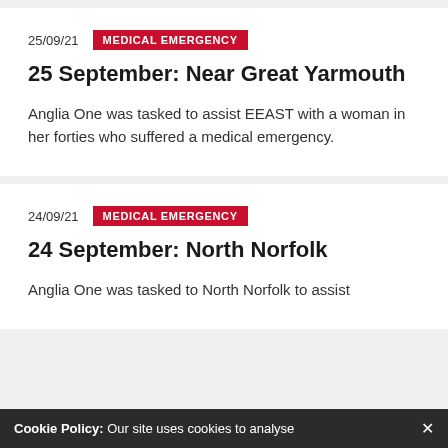25/09/21
MEDICAL EMERGENCY
25 September: Near Great Yarmouth
Anglia One was tasked to assist EEAST with a woman in her forties who suffered a medical emergency.
24/09/21
MEDICAL EMERGENCY
24 September: North Norfolk
Anglia One was tasked to North Norfolk to assist EEAST with a woman in her forties who suffered a
Cookie Policy: Our site uses cookies to analyse